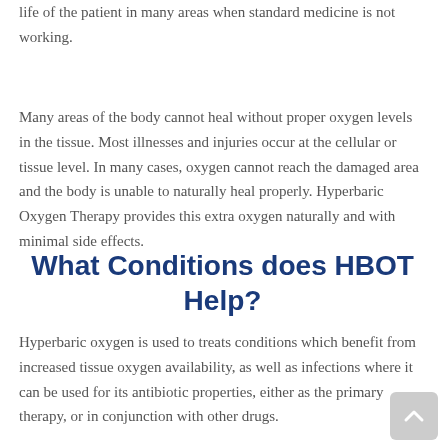life of the patient in many areas when standard medicine is not working.
Many areas of the body cannot heal without proper oxygen levels in the tissue. Most illnesses and injuries occur at the cellular or tissue level. In many cases, oxygen cannot reach the damaged area and the body is unable to naturally heal properly. Hyperbaric Oxygen Therapy provides this extra oxygen naturally and with minimal side effects.
What Conditions does HBOT Help?
Hyperbaric oxygen is used to treats conditions which benefit from increased tissue oxygen availability, as well as infections where it can be used for its antibiotic properties, either as the primary therapy, or in conjunction with other drugs.